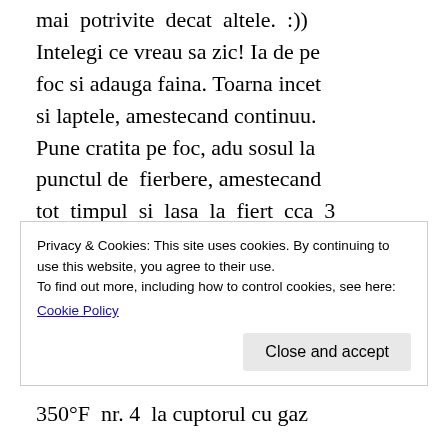mai  potrivite  decat  altele.  :)) Intelegi ce vreau sa zic! Ia de pe foc si adauga faina. Toarna incet si laptele, amestecand continuu. Pune cratita pe foc, adu sosul la punctul de  fierbere, amestecand tot  timpul  si  lasa  la  fiert  cca  3 minute. Adauga cascavalul ras si amesteca  iar  pana  se  topeste. Apoi amesteca in sos si smantana si  nucsoara.  Acum  chiar  miroase minunat! Mai pune sare si piper,
350°F  nr. 4  la cuptorul cu gaz
Privacy & Cookies: This site uses cookies. By continuing to use this website, you agree to their use.
To find out more, including how to control cookies, see here:
Cookie Policy

Close and accept